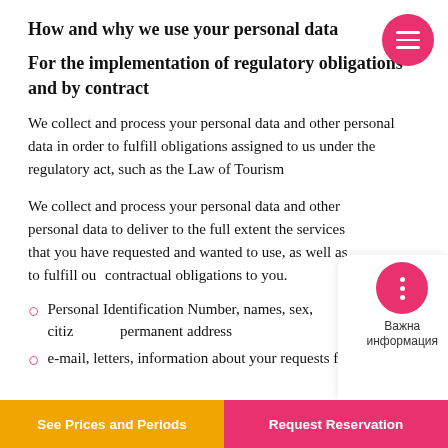How and why we use your personal data
For the implementation of regulatory obligations and by contract
We collect and process your personal data and other personal data in order to fulfill obligations assigned to us under the regulatory act, such as the Law of Tourism
We collect and process your personal data and other personal data to deliver to the full extent the services that you have requested and wanted to use, as well as to fulfill our contractual obligations to you.
Personal Identification Number, names, sex, citizenship, permanent address
e-mail, letters, information about your requests for the
See Prices and Periods | Request Reservation